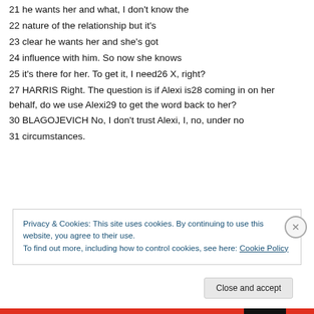21 he wants her and what, I don't know the
22 nature of the relationship but it's
23 clear he wants her and she's got
24 influence with him. So now she knows
25 it's there for her. To get it, I need26 X, right?
27 HARRIS Right. The question is if Alexi is28 coming in on her behalf, do we use Alexi29 to get the word back to her?
30 BLAGOJEVICH No, I don't trust Alexi, I, no, under no
31 circumstances.
Privacy & Cookies: This site uses cookies. By continuing to use this website, you agree to their use.
To find out more, including how to control cookies, see here: Cookie Policy